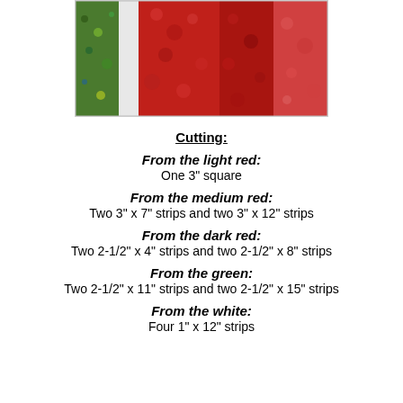[Figure (photo): Fabric swatches showing multicolor green/blue print, white, two shades of red, and light pink/red textures]
Cutting:
From the light red:
One 3" square
From the medium red:
Two 3" x 7" strips and two 3" x 12" strips
From the dark red:
Two 2-1/2" x 4" strips and two 2-1/2" x 8" strips
From the green:
Two 2-1/2" x 11" strips and two 2-1/2" x 15" strips
From the white:
Four 1" x 12" strips